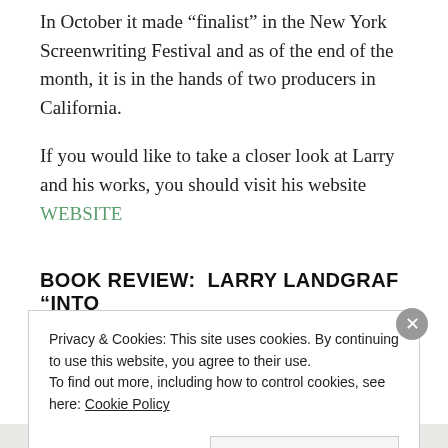In October it made “finalist” in the New York Screenwriting Festival and as of the end of the month, it is in the hands of two producers in California.
If you would like to take a closer look at Larry and his works, you should visit his website
WEBSITE
BOOK REVIEW:  LARRY LANDGRAF “INTO
Privacy & Cookies: This site uses cookies. By continuing to use this website, you agree to their use.
To find out more, including how to control cookies, see here: Cookie Policy
Close and accept